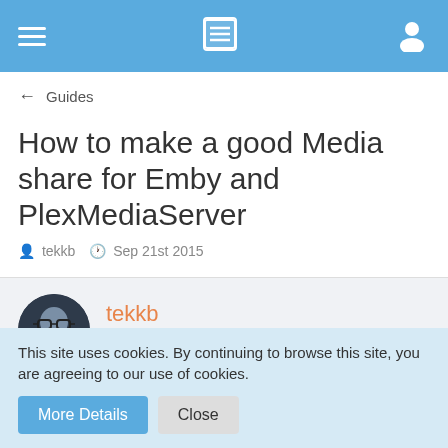[Figure (screenshot): Top navigation bar with hamburger menu, list icon, and user icon on blue background]
← Guides
How to make a good Media share for Emby and PlexMediaServer
tekkb  Sep 21st 2015
[Figure (photo): User avatar thumbnail of tekkb wearing glasses]
tekkb Enlightened
Sep 21st 2015
The first thing I am going to show here is something that
This site uses cookies. By continuing to browse this site, you are agreeing to our use of cookies.